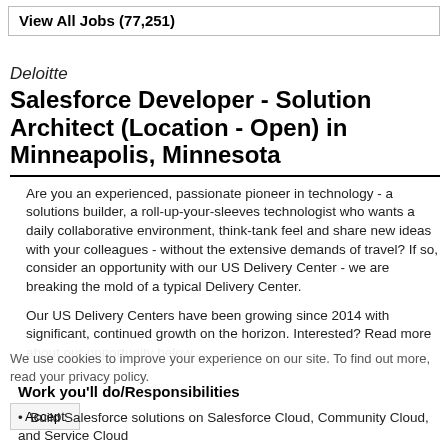View All Jobs (77,251)
Deloitte
Salesforce Developer - Solution Architect (Location - Open) in Minneapolis, Minnesota
Are you an experienced, passionate pioneer in technology - a solutions builder, a roll-up-your-sleeves technologist who wants a daily collaborative environment, think-tank feel and share new ideas with your colleagues - without the extensive demands of travel? If so, consider an opportunity with our US Delivery Center - we are breaking the mold of a typical Delivery Center.
Our US Delivery Centers have been growing since 2014 with significant, continued growth on the horizon. Interested? Read more about our opportunity below...
We use cookies to improve your experience on our site. To find out more, read your privacy policy.
Work you'll do/Responsibilities
Build Salesforce solutions on Salesforce Cloud, Community Cloud, and Service Cloud